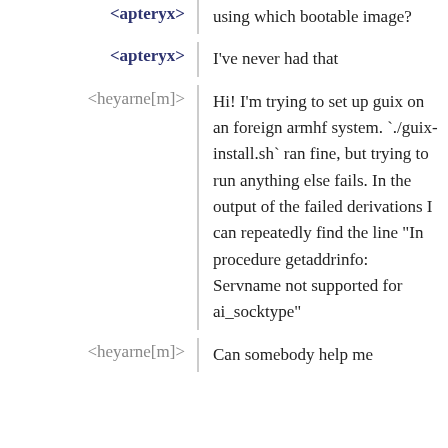<apteryx>
using which bootable image?
<apteryx>
I've never had that
<heyarne[m]>
Hi! I'm trying to set up guix on an foreign armhf system. `./guix-install.sh` ran fine, but trying to run anything else fails. In the output of the failed derivations I can repeatedly find the line "In procedure getaddrinfo: Servname not supported for ai_socktype"
<heyarne[m]>
Can somebody help me